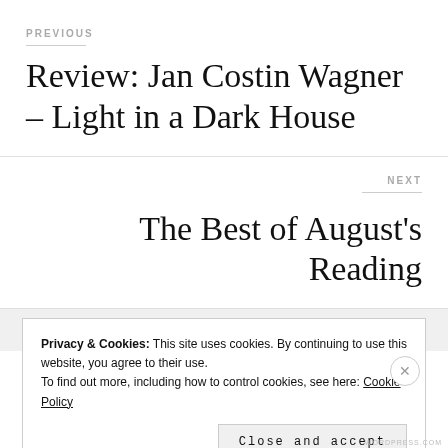PREVIOUS
Review: Jan Costin Wagner – Light in a Dark House
NEXT
The Best of August's Reading
Privacy & Cookies: This site uses cookies. By continuing to use this website, you agree to their use. To find out more, including how to control cookies, see here: Cookie Policy
Close and accept